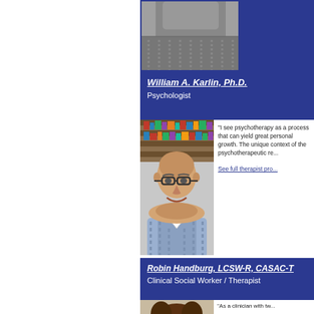[Figure (photo): Partial photo of a person visible at top, cropped]
William A. Karlin, Ph.D.
Psychologist
[Figure (photo): Photo of William A. Karlin, Ph.D., a bald man with glasses, smiling, in front of bookshelves]
"I see psychotherapy as a process that can yield great personal growth. The unique context of the psychotherapeutic re... See full therapist pro...
Robin Handburg, LCSW-R, CASAC-T
Clinical Social Worker / Therapist
[Figure (photo): Photo of Robin Handburg, a woman with curly dark hair, smiling]
"As a clinician with tw... an eclectic way of wo... many areas over the... shame-free space fo... See full therapist pro...